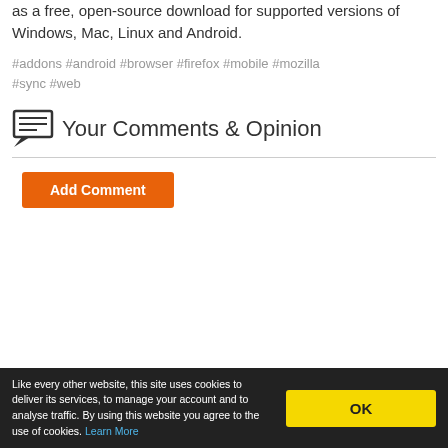as a free, open-source download for supported versions of Windows, Mac, Linux and Android.
#addons #android #browser #firefox #mobile #mozilla #sync #web
Your Comments & Opinion
Add Comment
Like every other website, this site uses cookies to deliver its services, to manage your account and to analyse traffic. By using this website you agree to the use of cookies. Learn More